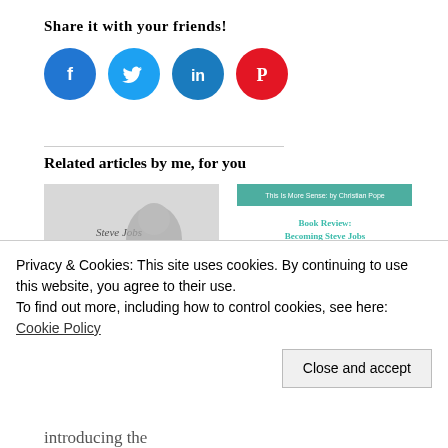Share it with your friends!
[Figure (infographic): Four social media share buttons: Facebook (blue circle), Twitter (light blue circle), LinkedIn (dark blue circle), Pinterest (red circle)]
Related articles by me, for you
[Figure (photo): Black and white photo of Steve Jobs with text 'Steve Jobs 1955-2011']
Some Thoughts on Steve Jobs
October 9, 2011
[Figure (screenshot): Screenshot of a blog post titled 'Book Review: Becoming Steve Jobs' with a small photo of Steve Jobs]
Book Review: Becoming Steve Jobs
March 31, 2015
Privacy & Cookies: This site uses cookies. By continuing to use this website, you agree to their use.
To find out more, including how to control cookies, see here: Cookie Policy
Close and accept
introducing the